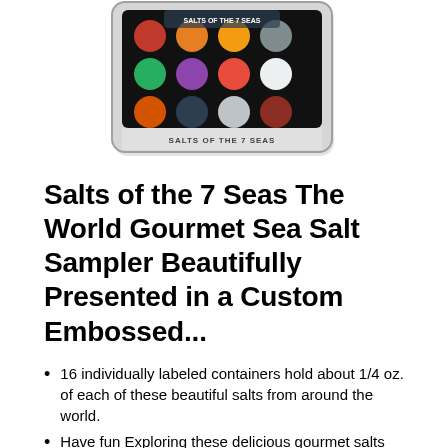[Figure (photo): Product image of 'Salts of the 7 Seas' sea salt sampler tin with colorful salt varieties visible in a grid of small circular containers on a black background, with the label 'SALTS OF THE 7 SEAS' printed on the tin.]
Salts of the 7 Seas The World Gourmet Sea Salt Sampler Beautifully Presented in a Custom Embossed...
16 individually labeled containers hold about 1/4 oz. of each of these beautiful salts from around the world.
Have fun Exploring these delicious gourmet salts and